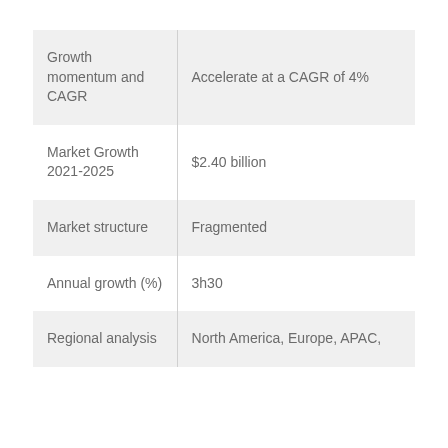|  |  |
| --- | --- |
| Growth momentum and CAGR | Accelerate at a CAGR of 4% |
| Market Growth 2021-2025 | $2.40 billion |
| Market structure | Fragmented |
| Annual growth (%) | 3h30 |
| Regional analysis | North America, Europe, APAC, |